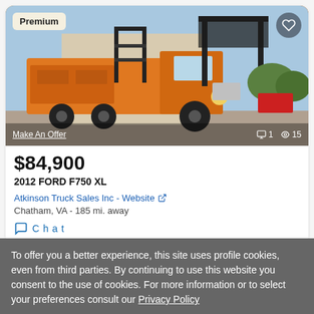[Figure (photo): Orange 2012 Ford F750 XL truck with elevated work platform/bucket attachment, photographed in a parking lot]
Premium
Make An Offer
1  15
$84,900
2012 FORD F750 XL
Atkinson Truck Sales Inc - Website
Chatham, VA - 185 mi. away
Chat
To offer you a better experience, this site uses profile cookies, even from third parties. By continuing to use this website you consent to the use of cookies. For more information or to select your preferences consult our Privacy Policy